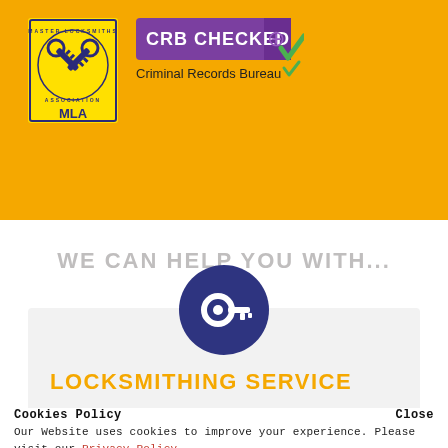[Figure (logo): Master Locksmiths Association (MLA) logo — circular badge on yellow background with crossed keys and 'MLA' text]
[Figure (logo): CRB Checked badge — purple rectangle with white 'CRB CHECKED' text, green checkmark, and 'Criminal Records Bureau' text below]
WE CAN HELP YOU WITH...
[Figure (illustration): Dark navy/purple circle with white key icon in center — representing locksmith/key service]
LOCKSMITHING SERVICE
Cookies Policy
Close
Our Website uses cookies to improve your experience. Please visit our Privacy Policy page for more information about cookies and how we use them.